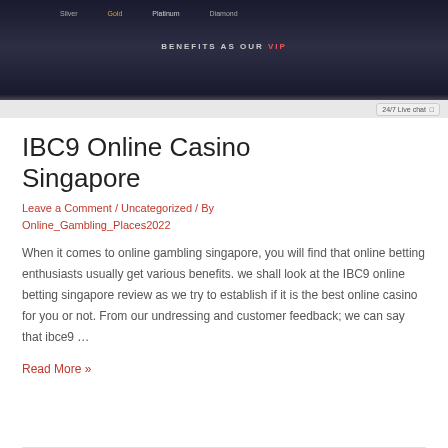[Figure (screenshot): Screenshot of IBC9 online casino website showing VIP membership tiers (Silver, Gold, Platinum, Diamond) with a dark background and 24/7 live chat button]
IBC9 Online Casino Singapore
Leave a Comment / Uncategorized / By Online_Gambling_Places2022
When it comes to online gambling singapore, you will find that online betting enthusiasts usually get various benefits. we shall look at the IBC9 online betting singapore review as we try to establish if it is the best online casino for you or not. From our undressing and customer feedback; we can say that ibce9 …
Read More »